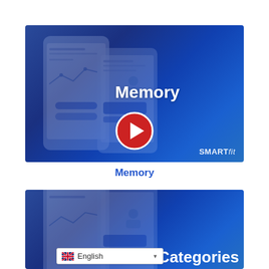[Figure (screenshot): Video thumbnail for 'Memory' showing a blue gradient background with phone app mockup overlay, white bold 'Memory' text centered, a red play button circle at bottom center, and 'SMARTfit' logo at bottom right]
Memory
[Figure (screenshot): Partial video thumbnail showing blue gradient background with phone app mockup, a language selector dropdown showing 'English' with UK flag at bottom left, and partial white bold text 's Categories' visible at bottom right]